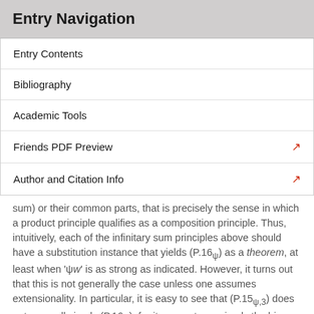Entry Navigation
Entry Contents
Bibliography
Academic Tools
Friends PDF Preview
Author and Citation Info
sum) or their common parts, that is precisely the sense in which a product principle qualifies as a composition principle. Thus, intuitively, each of the infinitary sum principles above should have a substitution instance that yields (P.16ψ) as a theorem, at least when 'ψw' is as strong as indicated. However, it turns out that this is not generally the case unless one assumes extensionality. In particular, it is easy to see that (P.15ψ,3) does not generally imply (P.16ψ), for it may not even imply the binary version (P.13ξ). This can be verified by taking 'ξx y' and 'ψw' to express just the requirement of overlap, i.e., the condition 'Oxy' and i...